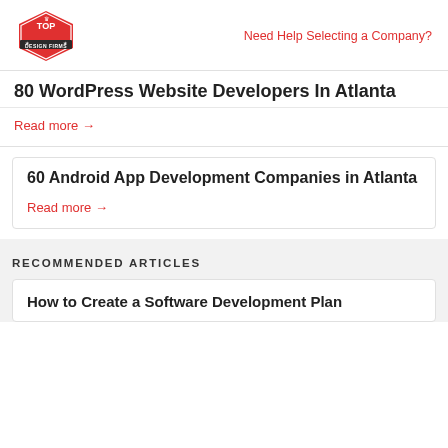Top Design Firms | Need Help Selecting a Company?
80 WordPress Website Developers In Atlanta
Read more →
60 Android App Development Companies in Atlanta
Read more →
RECOMMENDED ARTICLES
How to Create a Software Development Plan